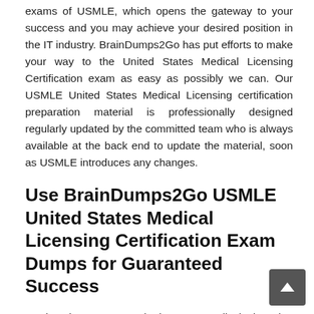exams of USMLE, which opens the gateway to your success and you may achieve your desired position in the IT industry. BrainDumps2Go has put efforts to make your way to the United States Medical Licensing Certification exam as easy as possibly we can. Our USMLE United States Medical Licensing certification preparation material is professionally designed regularly updated by the committed team who is always available at the back end to update the material, soon as USMLE introduces any changes.
Use BrainDumps2Go USMLE United States Medical Licensing Certification Exam Dumps for Guaranteed Success
Getting the USMLE United States Medical Licensing Certification paves your way to land well-paid jobs in the IT industry. But without help from updated study material, you cannot pass the USMLE United States Medical Licensing exam on the first attempt. BrainDumps2Go is here to make